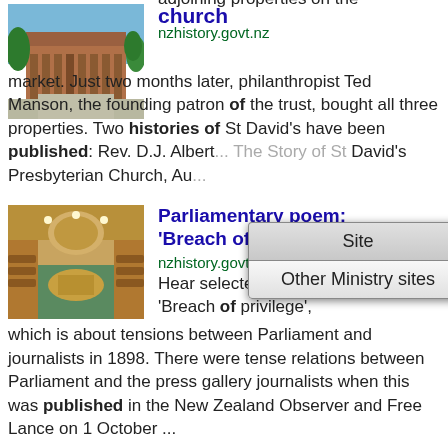[Figure (photo): A church building with brick facade and trees]
church
nzhistory.govt.nz
put the church and two adjoining properties on the market. Just two months later, philanthropist Ted Manson, the founding patron of the trust, bought all three properties. Two histories of St David's have been published: Rev. D.J. Albert... The Story of St David's Presbyterian Church, Au...
[Figure (screenshot): Dropdown menu showing 'Site' and 'Other Ministry sites' options]
[Figure (photo): Interior of parliament chamber with wooden seats and green carpet]
Parliamentary poem: 'Breach of privilege'
nzhistory.govt.nz
Hear selected verses from the poem 'Breach of privilege', which is about tensions between Parliament and journalists in 1898. There were tense relations between Parliament and the press gallery journalists when this was published in the New Zealand Observer and Free Lance on 1 October ...